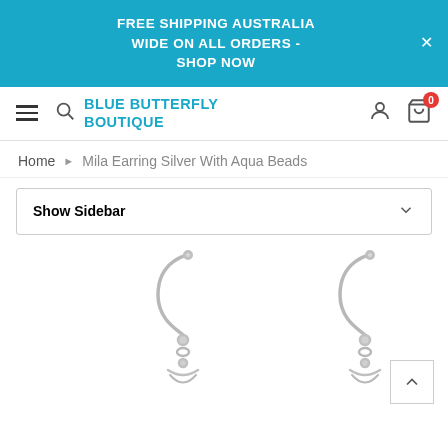FREE SHIPPING AUSTRALIA WIDE ON ALL ORDERS - SHOP NOW
BLUE BUTTERFLY BOUTIQUE
Home › Mila Earring Silver With Aqua Beads
Show Sidebar
[Figure (photo): Two silver drop earrings with aqua beads shown hanging, partially visible at bottom of page]